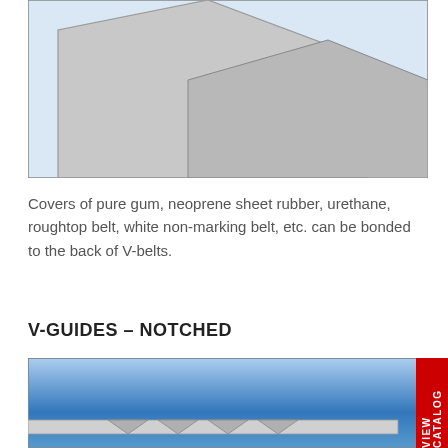[Figure (illustration): Technical illustration of V-belt cross-section showing angled geometry on light blue background, with gray trapezoidal belt profiles visible at top of page]
Covers of pure gum, neoprene sheet rubber, urethane, roughtop belt, white non-marking belt, etc. can be bonded to the back of V-belts.
V-GUIDES – NOTCHED
[Figure (illustration): Technical illustration of notched V-guides on blue gradient background, showing flat belt with V-guide profile at bottom of image]
VIEW CATALOG